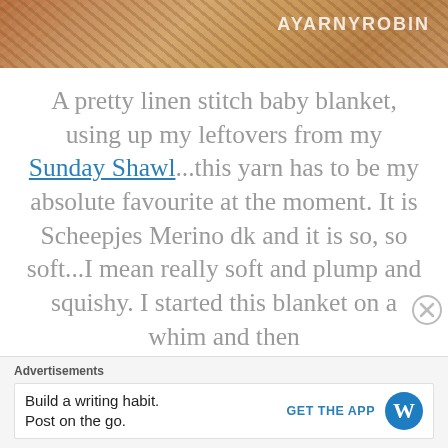[Figure (photo): Close-up of knitted/crocheted fabric texture in warm beige and brown tones, with partial text 'AYARNYROBIN' visible in the top right]
A pretty linen stitch baby blanket, using up my leftovers from my Sunday Shawl...this yarn has to be my absolute favourite at the moment.  It is Scheepjes Merino dk and it is so, so soft...I mean really soft and plump and squishy.  I started this blanket on a whim and then
Advertisements
Build a writing habit. Post on the go.
GET THE APP